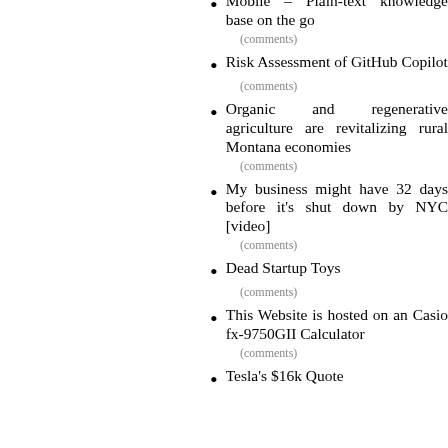Mobile – Plain-text knowledge base on the go
(comments)
Risk Assessment of GitHub Copilot
(comments)
Organic and regenerative agriculture are revitalizing rural Montana economies
(comments)
My business might have 32 days before it's shut down by NYC [video]
(comments)
Dead Startup Toys
(comments)
This Website is hosted on an Casio fx-9750GII Calculator
(comments)
Tesla's $16k Quote